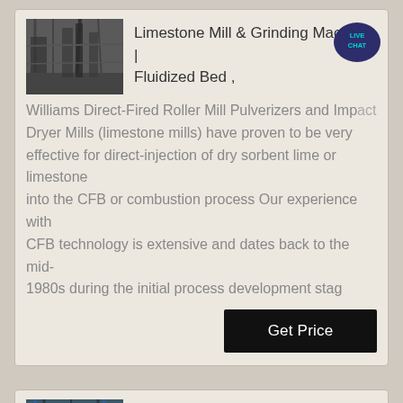[Figure (photo): Industrial limestone mill / grinding machine equipment photo]
Limestone Mill & Grinding Machine | Fluidized Bed ,
Williams Direct-Fired Roller Mill Pulverizers and Impact Dryer Mills (limestone mills) have proven to be very effective for direct-injection of dry sorbent lime or limestone into the CFB or combustion process Our experience with CFB technology is extensive and dates back to the mid-1980s during the initial process development stag
[Figure (photo): Grinding mill equipment for limestone in India]
grinding mill equipment for limestone in india
limestone grinding mill full set equipment in india Limestone Ball Mill Indian Manufacturers Suppliers Ball